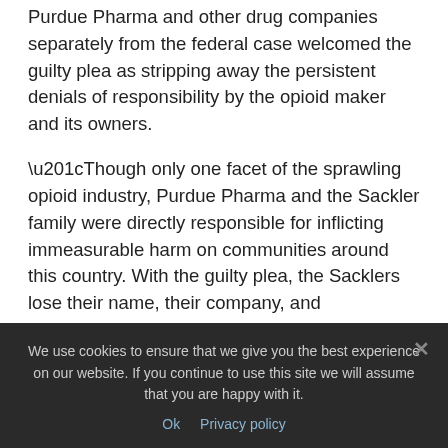Purdue Pharma and other drug companies separately from the federal case welcomed the guilty plea as stripping away the persistent denials of responsibility by the opioid maker and its owners.
“Though only one facet of the sprawling opioid industry, Purdue Pharma and the Sackler family were directly responsible for inflicting immeasurable harm on communities around this country. With the guilty plea, the Sacklers lose their name, their company, and substantially more,” said the lawyers for plaintiffs in the National Prescription Opioid litigation.
We use cookies to ensure that we give you the best experience on our website. If you continue to use this site we will assume that you are happy with it.